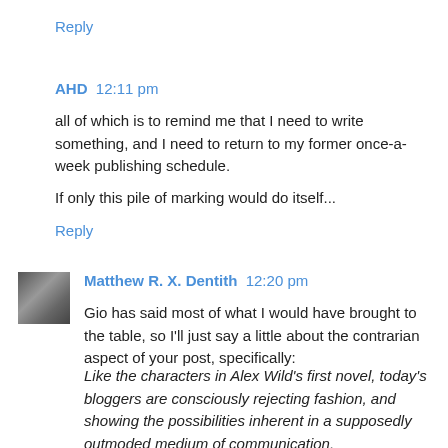Reply
AHD  12:11 pm
all of which is to remind me that I need to write something, and I need to return to my former once-a-week publishing schedule.
If only this pile of marking would do itself...
Reply
Matthew R. X. Dentith  12:20 pm
Gio has said most of what I would have brought to the table, so I'll just say a little about the contrarian aspect of your post, specifically:
Like the characters in Alex Wild's first novel, today's bloggers are consciously rejecting fashion, and showing the possibilities inherent in a supposedly outmoded medium of communication.